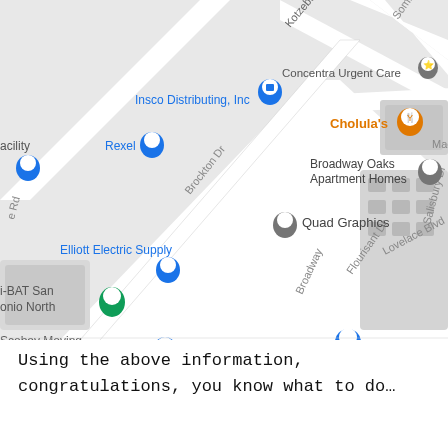[Figure (map): Google Maps screenshot showing area around Broadway, San Antonio North. Visible landmarks include Insco Distributing Inc, Rexel, Elliott Electric Supply, I-BAT San Antonio North, Scobey Moving & Storage, Quad Graphics, Broadway Oaks Apartment Homes, Concentra Urgent Care, Cholula's restaurant. Streets visible include Kotzebue St, Brockton Dr, Broadway, Flourisant Dr, Lovelace Blvd, Salisbury Dr, Sommers Dr.]
Using the above information, congratulations, you know what to do…